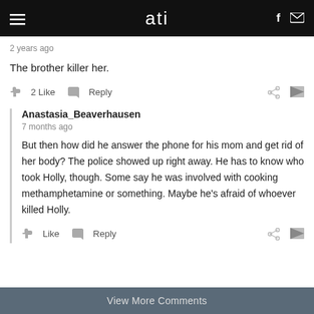ati
2 years ago
The brother killer her.
👍 2 Like  ↩ Reply
Anastasia_Beaverhausen
7 months ago
But then how did he answer the phone for his mom and get rid of her body? The police showed up right away. He has to know who took Holly, though. Some say he was involved with cooking methamphetamine or something. Maybe he's afraid of whoever killed Holly.
👍 Like  ↩ Reply
View More Comments